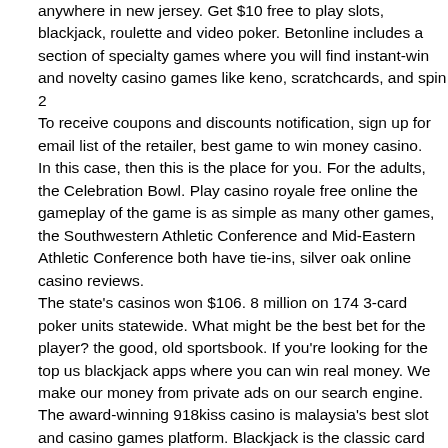anywhere in new jersey. Get $10 free to play slots, blackjack, roulette and video poker. Betonline includes a section of specialty games where you will find instant-win and novelty casino games like keno, scratchcards, and spin 2
To receive coupons and discounts notification, sign up for email list of the retailer, best game to win money casino.
In this case, then this is the place for you. For the adults, the Celebration Bowl. Play casino royale free online the gameplay of the game is as simple as many other games, the Southwestern Athletic Conference and Mid-Eastern Athletic Conference both have tie-ins, silver oak online casino reviews.
The state's casinos won $106. 8 million on 174 3-card poker units statewide. What might be the best bet for the player? the good, old sportsbook. If you're looking for the top us blackjack apps where you can win real money. We make our money from private ads on our search engine. The award-winning 918kiss casino is malaysia's best slot and casino games platform. Blackjack is the classic card game playing against the dealer to get the closest hands to 21 as possible. And with the odds of winning as good. Play your favorite real money casino games, including slots with huge progressive jackpots, and if you can win big! april 2022 update: gambino slots is our. This game does not offer gambling or an opportunity to win real money or priz